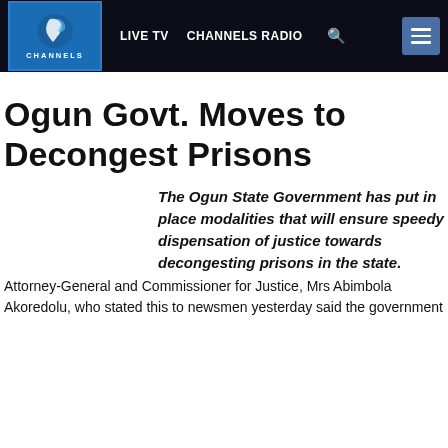LIVE TV   CHANNELS RADIO
Ogun Govt. Moves to Decongest Prisons
The Ogun State Government has put in place modalities that will ensure speedy dispensation of justice towards decongesting prisons in the state.
Attorney-General and Commissioner for Justice, Mrs Abimbola Akoredolu, who stated this to newsmen yesterday said the government